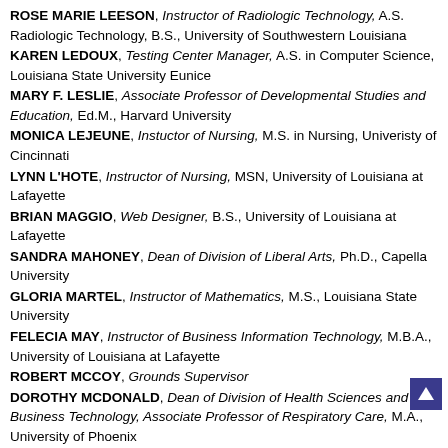ROSE MARIE LEESON, Instructor of Radiologic Technology, A.S. Radiologic Technology, B.S., University of Southwestern Louisiana
KAREN LEDOUX, Testing Center Manager, A.S. in Computer Science, Louisiana State University Eunice
MARY F. LESLIE, Associate Professor of Developmental Studies and Education, Ed.M., Harvard University
MONICA LEJEUNE, Instuctor of Nursing, M.S. in Nursing, Univeristy of Cincinnati
LYNN L'HOTE, Instructor of Nursing, MSN, University of Louisiana at Lafayette
BRIAN MAGGIO, Web Designer, B.S., University of Louisiana at Lafayette
SANDRA MAHONEY, Dean of Division of Liberal Arts, Ph.D., Capella University
GLORIA MARTEL, Instructor of Mathematics, M.S., Louisiana State University
FELECIA MAY, Instructor of Business Information Technology, M.B.A., University of Louisiana at Lafayette
ROBERT MCCOY, Grounds Supervisor
DOROTHY MCDONALD, Dean of Division of Health Sciences and Business Technology, Associate Professor of Respiratory Care, M.A., University of Phoenix
ROBERT L. MCLAUGHLIN, Director of Radiologic Technology and